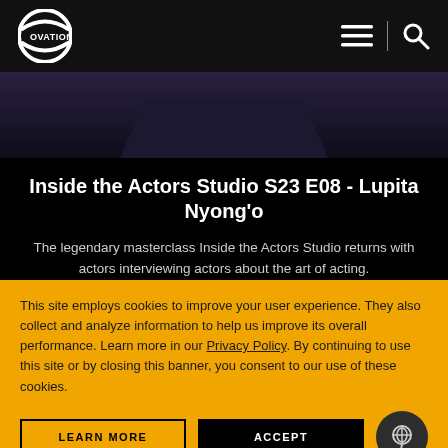OVATION — navigation header with hamburger menu and search icon
[Figure (screenshot): Dark studio backdrop, partially visible stage chair, dim theatrical lighting]
Inside the Actors Studio S23 E08 - Lupita Nyong'o
The legendary masterclass Inside the Actors Studio returns with actors interviewing actors about the art of acting.
This site employs cookies to improve your user experience. They also collect and analyze information to help us improve its overall performance. Learn more in our Privacy Policy. By continuing to use this site or by closing this banner, you consent to our use of these cookies.